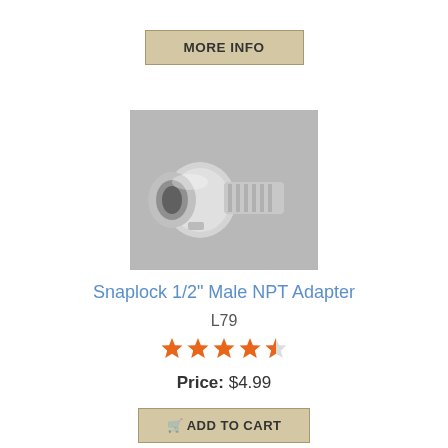[Figure (other): MORE INFO button - tan/khaki colored button with bold text]
[Figure (photo): Photo of a Snaplock 1/2 inch Male NPT Adapter, a silver metallic pipe fitting adapter]
Snaplock 1/2" Male NPT Adapter
L79
[Figure (other): 4.5 out of 5 star rating shown in orange stars]
Price:  $4.99
[Figure (other): ADD TO CART button - tan/khaki colored button with shopping cart icon]
[Figure (photo): Photo of a silver metallic cross/4-way pipe fitting]